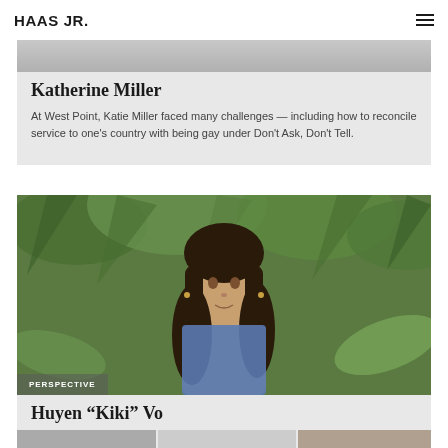HAAS JR.
Katherine Miller
At West Point, Katie Miller faced many challenges — including how to reconcile service to one's country with being gay under Don't Ask, Don't Tell.
[Figure (photo): Portrait photo of Huyen Kiki Vo, a young woman with long dark hair, standing in front of lush green tropical foliage. Label 'PERSPECTIVE' overlaid at bottom left.]
Huyen “Kiki” Vo
After a horrific fire killed her mother and injured her, Kiki came to the U.S. for medical care. Read about her incredible journey, including being an undocumented student at Cal.
[Figure (photo): Partial strip of photos at the bottom of the page, partially cut off.]